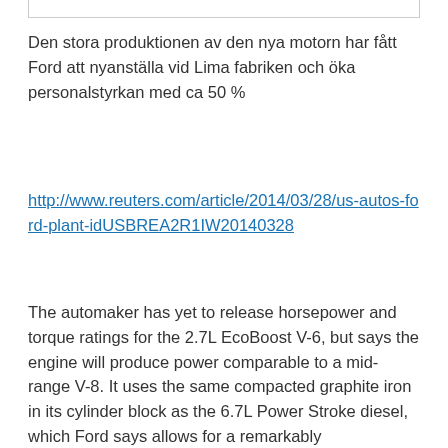Den stora produktionen av den nya motorn har fått Ford att nyanställa vid Lima fabriken och öka personalstyrkan med ca 50 %
http://www.reuters.com/article/2014/03/28/us-autos-ford-plant-idUSBREA2R1IW20140328
The automaker has yet to release horsepower and torque ratings for the 2.7L EcoBoost V-6, but says the engine will produce power comparable to a mid-range V-8. It uses the same compacted graphite iron in its cylinder block as the 6.7L Power Stroke diesel, which Ford says allows for a remarkably